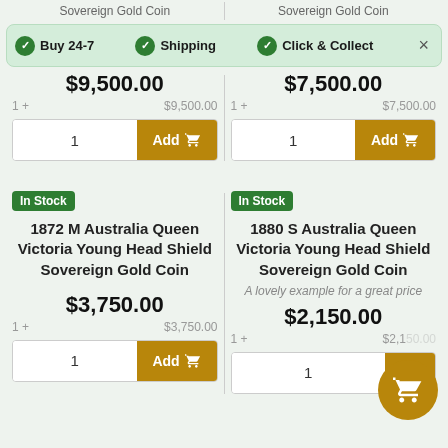Sovereign Gold Coin  |  Sovereign Gold Coin
Buy 24-7  |  Shipping  |  Click & Collect
$9,500.00  |  1 +  $9,500.00
$7,500.00  |  1 +  $7,500.00
In Stock - 1872 M Australia Queen Victoria Young Head Shield Sovereign Gold Coin
In Stock - 1880 S Australia Queen Victoria Young Head Shield Sovereign Gold Coin
A lovely example for a great price
$3,750.00  |  1 +  $3,750.00
$2,150.00  |  1 +  $2,150.00